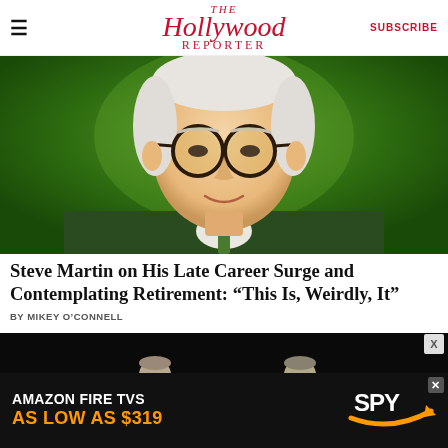The Hollywood Reporter | SUBSCRIBE
[Figure (photo): Steve Martin, white-haired man in green suit jacket and glasses, photographed against a green background, looking directly at camera]
Steve Martin on His Late Career Surge and Contemplating Retirement: “This Is, Weirdly, It”
BY MIKEY O’CONNELL
[Figure (photo): Two figures in green shirts and caps carrying a pink headboard/furniture against a dark background]
[Figure (photo): Advertisement: Amazon Fire TVs as low as $319, with SPY logo]